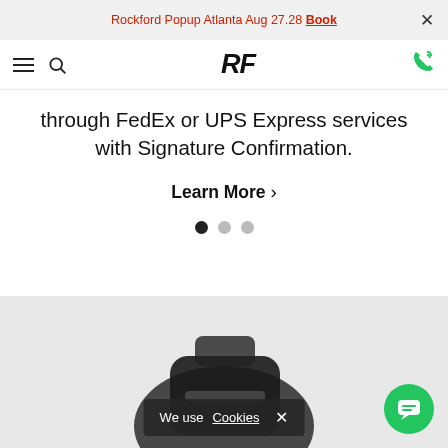Rockford Popup Atlanta Aug 27.28 Book
[Figure (screenshot): RF logo and navigation bar with hamburger menu, search icon, RF italic logo, and green phone icon]
through FedEx or UPS Express services with Signature Confirmation.
Learn More
[Figure (other): Carousel pagination dots: three dots, first filled black, two grey]
[Figure (photo): Product section showing dark colored watch/accessory on grey background]
We use Cookies